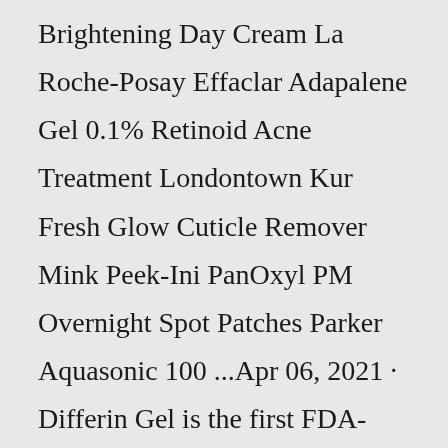Brightening Day Cream La Roche-Posay Effaclar Adapalene Gel 0.1% Retinoid Acne Treatment Londontown Kur Fresh Glow Cuticle Remover Mink Peek-Ini PanOxyl PM Overnight Spot Patches Parker Aquasonic 100 ...Apr 06, 2021 · Differin Gel is the first FDA-approved over-the-counter (OTC) topical retinoid. It contains adapalene, a third generation retinoid that can help treat and prevent acne. Adapalene